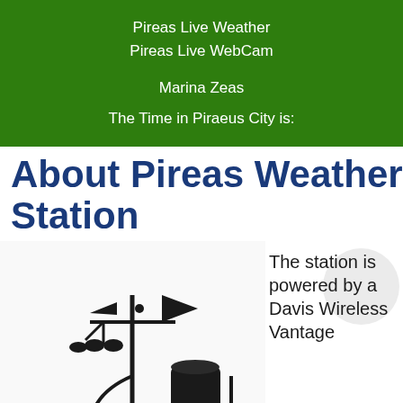Pireas Live Weather
Pireas Live WebCam

Marina Zeas

The Time in Piraeus City is:
About Pireas Weather Station
[Figure (photo): A Davis wireless weather station with anemometer (wind cups and vane) on top of a pole and a rain gauge cylinder, photographed against a white background.]
The station is powered by a Davis Wireless Vantage